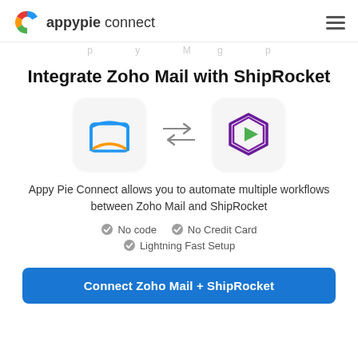appypie connect
p...y...M...g...p
Integrate Zoho Mail with ShipRocket
[Figure (logo): Zoho Mail icon (open envelope, blue and orange) and ShipRocket icon (purple play button double outline with green inner triangle), connected by bidirectional arrows]
Appy Pie Connect allows you to automate multiple workflows between Zoho Mail and ShipRocket
No code
No Credit Card
Lightning Fast Setup
Connect Zoho Mail + ShipRocket